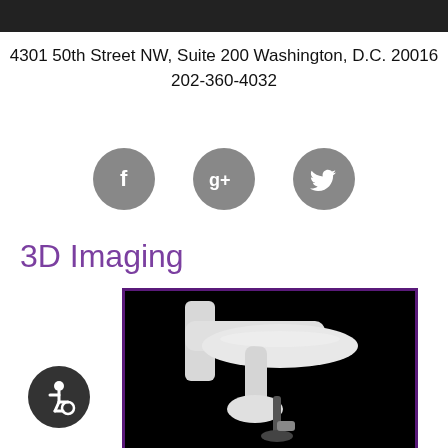[Figure (photo): Dark header bar / banner image at the top of the page]
4301 50th Street NW, Suite 200 Washington, D.C. 20016
202-360-4032
[Figure (infographic): Three gray circular social media icons: Facebook (f), Google+ (g+), Twitter (bird)]
3D Imaging
[Figure (photo): 3D imaging dental/medical machine (white arm device) on black background, framed with purple border]
[Figure (infographic): Accessibility wheelchair icon in dark gray circle, bottom left]